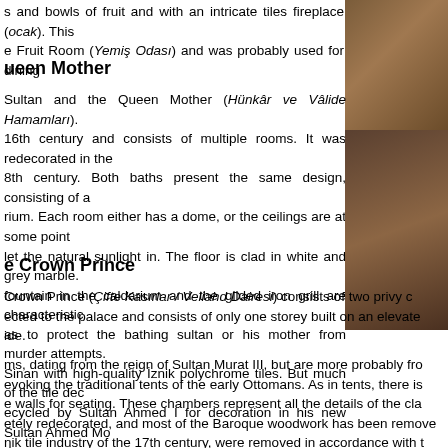s and bowls of fruit and with an intricate tiles fireplace (ocak). This e Fruit Room (Yemiş Odası) and was probably used for dining
[Figure (photo): Photo of decorative tiles or interior architectural detail, right side upper]
ueen Mother
Sultan and the Queen Mother (Hünkâr ve Vâlide Hamamları). 16th century and consists of multiple rooms. It was redecorated in the 8th century. Both baths present the same design, consisting of a rium. Each room either has a dome, or the ceilings are at some point let the natural sunlight in. The floor is clad in white and grey marble. fountain in the caldarium and the gilded iron grill are characteristic as to protect the bathing sultan or his mother from murder attempts. Sinan with high-quality İznik polychrome tiles. But much of the tile dec recycled by Sultan Ahmed I for decoration in his new Sultan Ahmed Mo d.
[Figure (photo): Photo of interior architectural detail, right side middle]
e Crown Prince
Crown Prince (Çifte Kasırlar / Veliahd Dairesi) consists of two privy c ected to the palace and consists of only one storey built on an elevate ide.
ms, dating from the reign of Sultan Murat III, but are more probably fro evoking the traditional tents of the early Ottomans. As in tents, there is walls for seating. These chambers represent all the details of the cla etely redecorated, and most of the Baroque woodwork has been remove nik tile industry of the 17th century, were removed in accordance with t